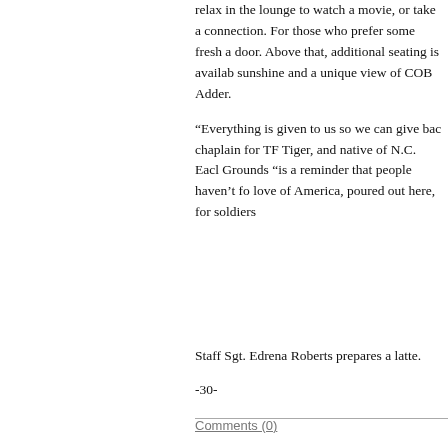relax in the lounge to watch a movie, or take a connection. For those who prefer some fresh a door. Above that, additional seating is availab sunshine and a unique view of COB Adder.

“Everything is given to us so we can give bac chaplain for TF Tiger, and native of N.C. Each Grounds “is a reminder that people haven’t fo love of America, poured out here, for soldiers
Staff Sgt. Edrena Roberts prepares a latte.
-30-
Comments (0)